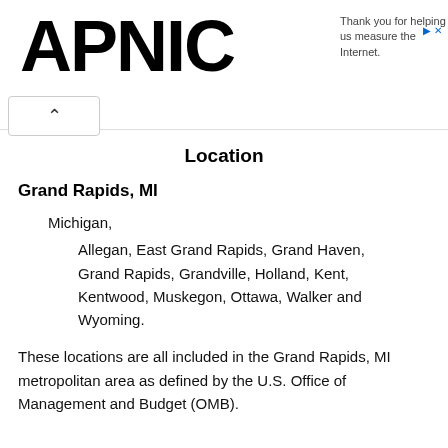APNIC — Thank you for helping us measure the Internet.
Location
Grand Rapids, MI
Michigan,
Allegan, East Grand Rapids, Grand Haven, Grand Rapids, Grandville, Holland, Kent, Kentwood, Muskegon, Ottawa, Walker and Wyoming.
These locations are all included in the Grand Rapids, MI metropolitan area as defined by the U.S. Office of Management and Budget (OMB).